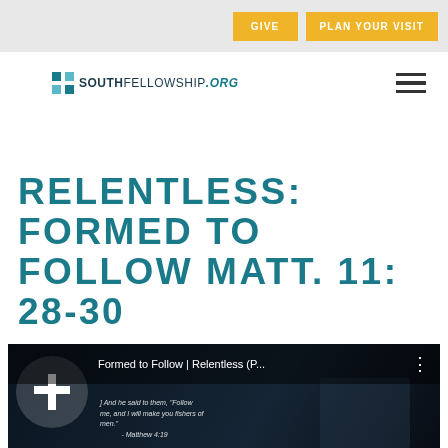GIVE | PLAN YOUR VISIT
[Figure (logo): SouthFellowship.org logo with teal cross/grid icon and hamburger menu icon]
RELENTLESS: FORMED TO FOLLOW MATT. 11: 28-30
[Figure (screenshot): Video thumbnail for 'Formed to Follow | Relentless (P...' with a cross icon overlay, dark background scene, and text 'And he said to them, Follow me, and I will make you fishers of men. - Matthew 4:19']